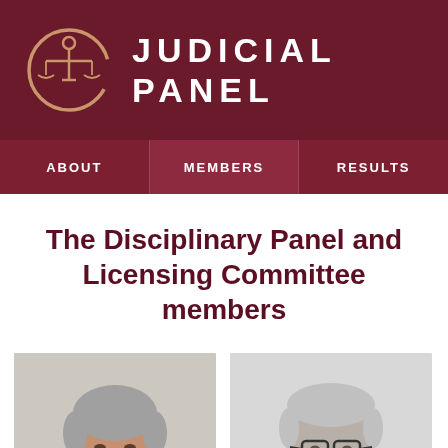JUDICIAL PANEL
ABOUT  MEMBERS  RESULTS
The Disciplinary Panel and Licensing Committee members
[Figure (photo): Portrait photo of an elderly man with grey hair, facing forward, against a light background]
[Figure (photo): Black and white portrait photo of an older man wearing glasses, facing forward]